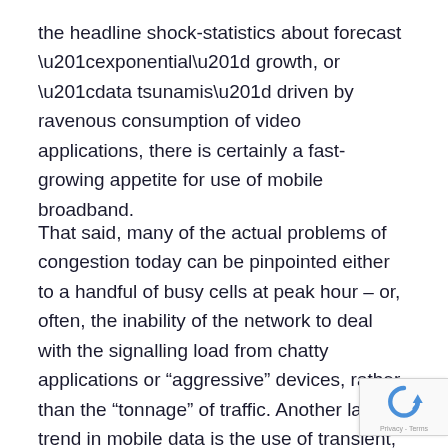the headline shock-statistics about forecast “exponential” growth, or “data tsunamis” driven by ravenous consumption of video applications, there is certainly a fast-growing appetite for use of mobile broadband.
That said, many of the actual problems of congestion today can be pinpointed either to a handful of busy cells at peak hour – or, often, the inability of the network to deal with the signalling load from chatty applications or “aggressive” devices, rather than the “tonnage” of traffic. Another large trend in mobile data is the use of transient, individual-centric flows from specific apps or communications tools such as social